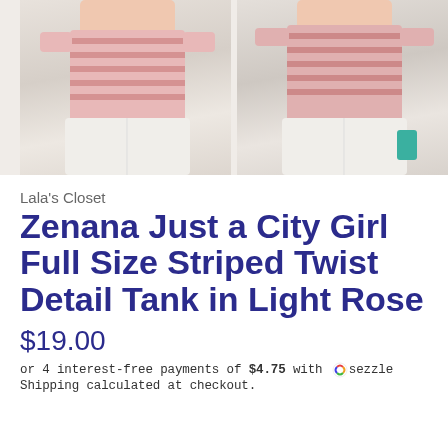[Figure (photo): Two product photos of a model wearing a pink/rose striped twist-detail tank top with white pants. Left image shows front view, right image shows back/side view.]
Lala's Closet
Zenana Just a City Girl Full Size Striped Twist Detail Tank in Light Rose
$19.00
or 4 interest-free payments of $4.75 with sezzle
Shipping calculated at checkout.